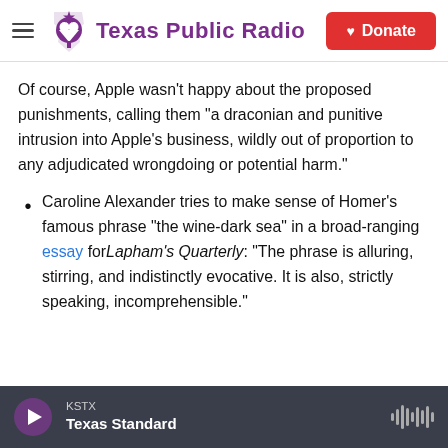Texas Public Radio | Donate
Of course, Apple wasn't happy about the proposed punishments, calling them "a draconian and punitive intrusion into Apple's business, wildly out of proportion to any adjudicated wrongdoing or potential harm."
Caroline Alexander tries to make sense of Homer's famous phrase "the wine-dark sea" in a broad-ranging essay for Lapham's Quarterly: "The phrase is alluring, stirring, and indistinctly evocative. It is also, strictly speaking, incomprehensible."
KSTX | Texas Standard